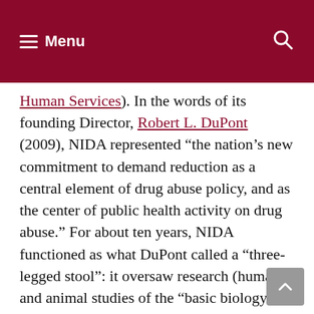Menu
Human Services). In the words of its founding Director, Robert L. DuPont (2009), NIDA represented “the nation’s new commitment to demand reduction as a central element of drug abuse policy, and as the center of public health activity on drug abuse.” For about ten years, NIDA functioned as what DuPont called a “three-legged stool”: it oversaw research (human and animal studies of the “basic biology of addiction” as well as drug epidemiology and drug effects); training (of clinical personnel); and service (in the areas of drug abuse prevention and treatment). But